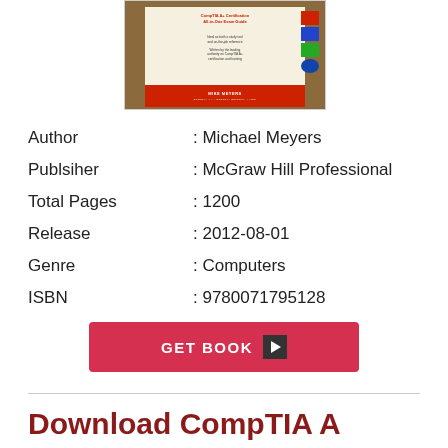[Figure (illustration): Book cover image for CompTIA A+ certification book by Mike Meyers, with brown border, cream interior, red bottom band with author name]
| Author | : Michael Meyers |
| Publsiher | : McGraw Hill Professional |
| Total Pages | : 1200 |
| Release | : 2012-08-01 |
| Genre | : Computers |
| ISBN | : 9780071795128 |
GET BOOK ▶
Download CompTIA A Certification All In One E